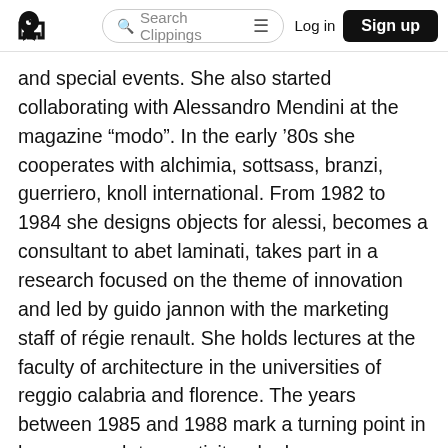Search Clippings | Log in | Sign up
and special events. She also started collaborating with Alessandro Mendini at the magazine “modo”. In the early ’80s she cooperates with alchimia, sottsass, branzi, guerriero, knoll international. From 1982 to 1984 she designs objects for alessi, becomes a consultant to abet laminati, takes part in a research focused on the theme of innovation and led by guido jannon with the marketing staff of régie renault. She holds lectures at the faculty of architecture in the universities of reggio calabria and florence. The years between 1985 and 1988 mark a turning point in her approach to creativity: she becomes an advisor to unido e banca mondiale with the task of conceiving and carrying out both the product policy and the brand image for filippine, indonesia, malesia, thailandia. Such activity gives rise to a lot of conventions and exhibitions. From 1995 to 1999 she is involved in several installations and exposition designs for driade; she creates the line otto for gervasoni, the beds andaman, cicladi, ebridi for